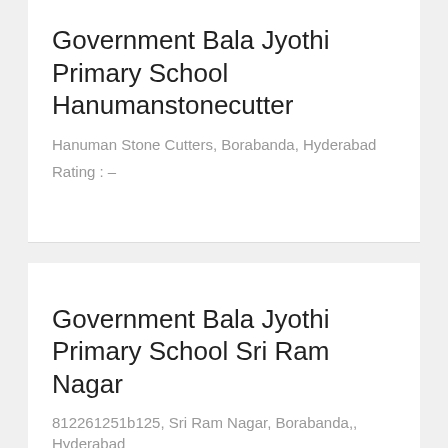Government Bala Jyothi Primary School Hanumanstonecutter
Hanuman Stone Cutters, Borabanda, Hyderabad
Rating : –
Government Bala Jyothi Primary School Sri Ram Nagar
812261251b125, Sri Ram Nagar, Borabanda,, Hyderabad
Rating : 4.0